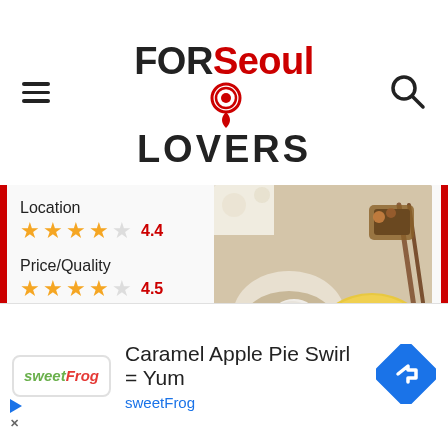FOR Seoul LOVERS
[Figure (photo): Food photo showing a bowl of soup with vegetables and a plate of fried food on a yellow plate]
Location
★★★★☆ 4.4
Price/Quality
★★★★☆ 4.5
Service
★★★★☆ 4.2
Parking
★★★★☆ 4.7
Wifi quality
★★★★☆ 4.4
HOW TO GET
TO CALL
WHATSAPP
Caramel Apple Pie Swirl = Yum
sweetFrog